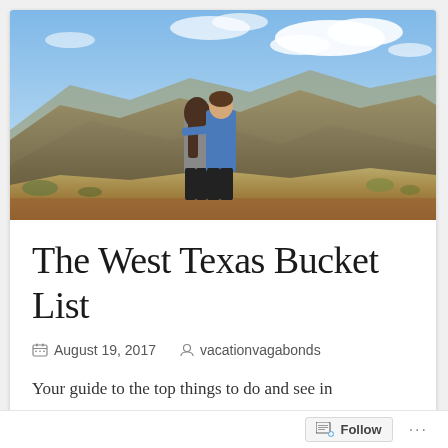[Figure (photo): A couple standing together on a hilltop overlooking a vast West Texas desert mountain landscape with blue sky and clouds.]
The West Texas Bucket List
August 19, 2017  vacationvagabonds
Your guide to the top things to do and see in